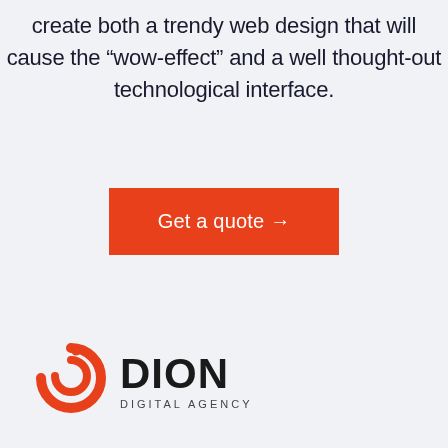create both a trendy web design that will cause the “wow-effect” and a well thought-out technological interface.
[Figure (other): Red rectangular button with white text reading 'Get a quote →']
[Figure (logo): Dion Digital Agency logo with orange circular icon and bold black DION text with DIGITAL AGENCY subtitle]